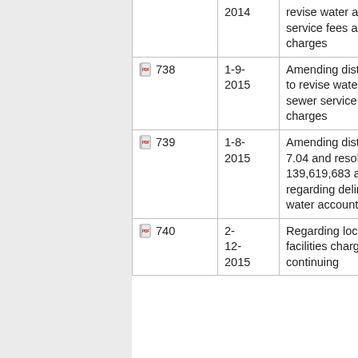| Number | Date | Description |  |
| --- | --- | --- | --- |
|  | 2014 | revise water and sewer service fees and charges |  |
| 738 | 1-9-2015 | Amending district code to revise water and sewer service fees and charges | 1 |
| 739 | 1-8-2015 | Amending district code 7.04 and resolutions no. 139,619,683 and 727 regarding delinquent water accounts | 1 |
| 740 | 2-12-2015 | Regarding local facilities charges for... |  |